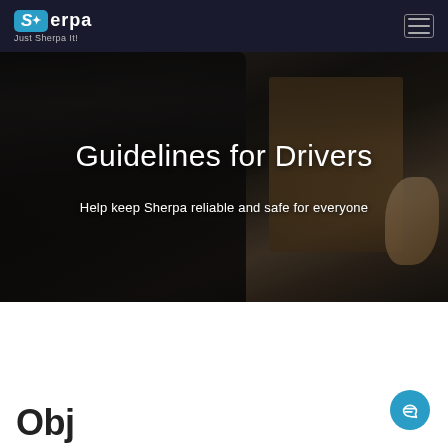Sherpa — Just Sherpa It!
[Figure (photo): Hero image of a person wearing a dark leather jacket, with overlaid text 'Guidelines for Drivers' and subtitle 'Help keep Sherpa reliable and safe for everyone'. Dark, moody background with brown/wooden tones visible behind the figure.]
Guidelines for Drivers
Help keep Sherpa reliable and safe for everyone
Obj